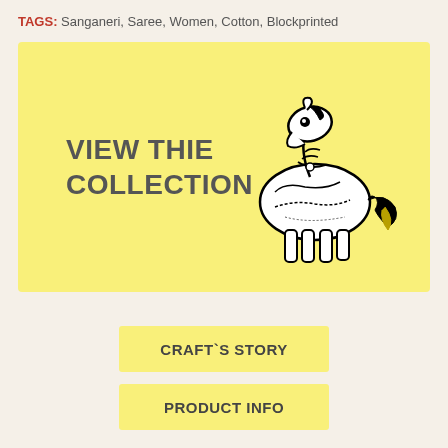TAGS: Sanganeri, Saree, Women, Cotton, Blockprinted
[Figure (illustration): Yellow banner with text 'VIEW THIE COLLECTION' on the left and a decorative block-print style horse illustration on the right]
CRAFT`S STORY
PRODUCT INFO